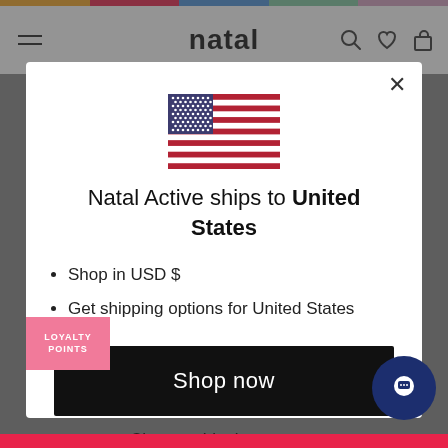[Figure (screenshot): Website header with hamburger menu, 'natal' logo, and icons]
[Figure (illustration): US flag SVG illustration]
Natal Active ships to United States
Shop in USD $
Get shipping options for United States
Shop now
Change shipping country